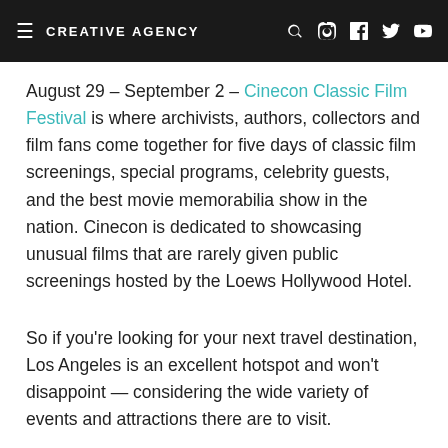CREATIVE AGENCY
August 29 – September 2 – Cinecon Classic Film Festival is where archivists, authors, collectors and film fans come together for five days of classic film screenings, special programs, celebrity guests, and the best movie memorabilia show in the nation. Cinecon is dedicated to showcasing unusual films that are rarely given public screenings hosted by the Loews Hollywood Hotel.
So if you're looking for your next travel destination, Los Angeles is an excellent hotspot and won't disappoint — considering the wide variety of events and attractions there are to visit.
For more travel, lifestyle